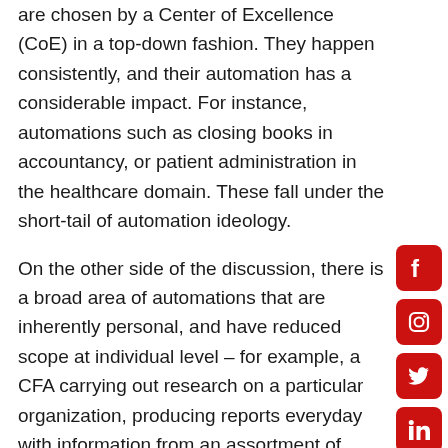are chosen by a Center of Excellence (CoE) in a top-down fashion. They happen consistently, and their automation has a considerable impact. For instance, automations such as closing books in accountancy, or patient administration in the healthcare domain. These fall under the short-tail of automation ideology.
On the other side of the discussion, there is a broad area of automations that are inherently personal, and have reduced scope at individual level – for example, a CFA carrying out research on a particular organization, producing reports everyday with information from an assortment of systems. When these are taken cumulatively, these personal automations in totality, consist of a much bigger
[Figure (other): Social media sidebar icons: Facebook, Instagram, Twitter, LinkedIn (red rounded square buttons)]